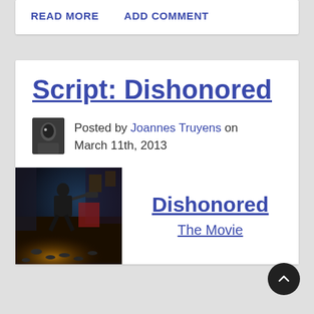READ MORE    ADD COMMENT
Script: Dishonored
Posted by Joannes Truyens on March 11th, 2013
[Figure (illustration): Game artwork showing a character in a dark scene with rats]
Dishonored
The Movie